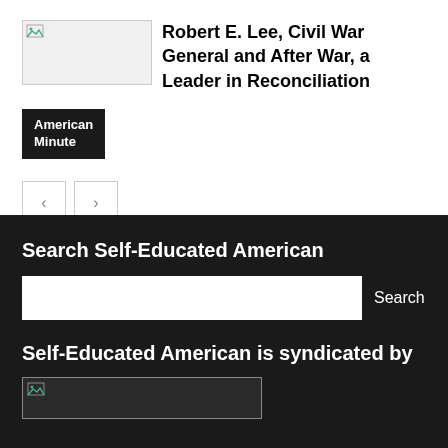[Figure (photo): Thumbnail image placeholder with broken image icon]
Robert E. Lee, Civil War General and After War, a Leader in Reconciliation
American Minute
< >
Search Self-Educated American
Search
Self-Educated American is syndicated by
[Figure (logo): Syndication logo placeholder with broken image icon]